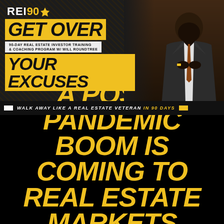[Figure (illustration): REI90 promotional banner showing a man in a suit with headline 'Get Over Your Excuses' and subtitle '90-Day Real Estate Investor Training & Coaching Program w/ Will Roundtree'. Walk away like a real estate veteran in 90 days.]
A POST-PANDEMIC BOOM IS COMING TO REAL ESTATE MARKETS ALL OVER THE